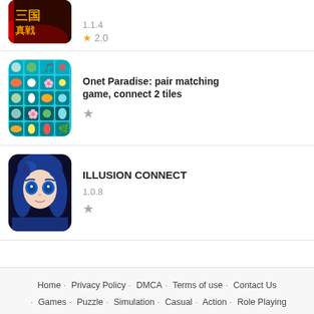[Figure (screenshot): App icon for a Chinese strategy game showing game title characters]
1.1.4
★ 2.0
[Figure (screenshot): App icon for Onet Paradise showing colorful fruits and items on teal tiles]
Onet Paradise: pair matching game, connect 2 tiles
★
[Figure (screenshot): App icon for ILLUSION CONNECT showing anime girl with blue hair]
ILLUSION CONNECT
1.0.8
★
Home · Privacy Policy · DMCA · Terms of use · Contact Us · Games · Puzzle · Simulation · Casual · Action · Role Playing · Arcade · Apps · Tools · Education Copyright© 2020 Moddedandroid